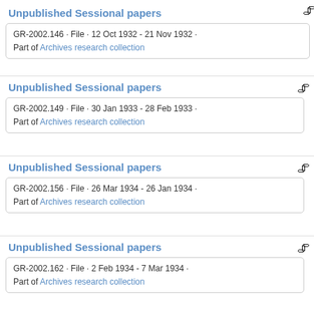Unpublished Sessional papers
GR-2002.146 · File · 12 Oct 1932 - 21 Nov 1932 ·
Part of Archives research collection
Unpublished Sessional papers
GR-2002.149 · File · 30 Jan 1933 - 28 Feb 1933 ·
Part of Archives research collection
Unpublished Sessional papers
GR-2002.156 · File · 26 Mar 1934 - 26 Jan 1934 ·
Part of Archives research collection
Unpublished Sessional papers
GR-2002.162 · File · 2 Feb 1934 - 7 Mar 1934 ·
Part of Archives research collection